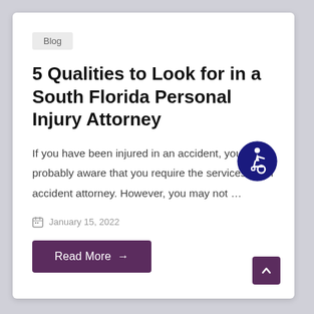Blog
5 Qualities to Look for in a South Florida Personal Injury Attorney
If you have been injured in an accident, you are probably aware that you require the services of an accident attorney. However, you may not …
January 15, 2022
Read More →